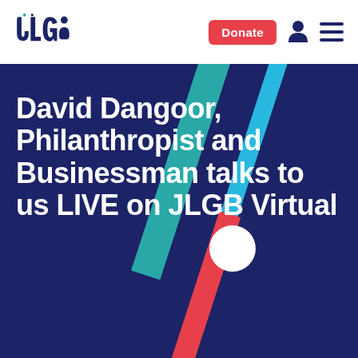JLGB logo, Donate button, person icon, menu icon
David Dangoor, Philanthropist and Businessman talks to us LIVE on JLGB Virtual
[Figure (illustration): Dark navy hero banner with diagonal teal, blue, and red stripes on the right side, a white circle overlapping the red stripe, and large white bold text on the left.]